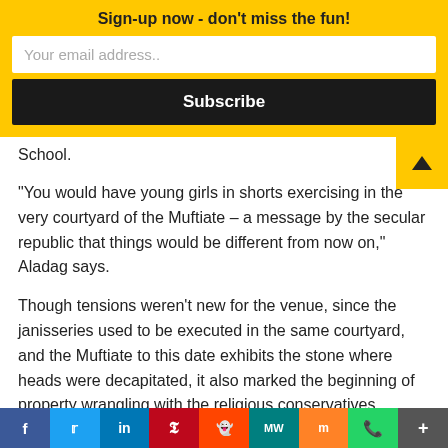Sign-up now - don't miss the fun!
Your email address..
Subscribe
School.
“You would have young girls in shorts exercising in the very courtyard of the Muftiate – a message by the secular republic that things would be different from now on,” Aladag says.
Though tensions weren’t new for the venue, since the janisseries used to be executed in the same courtyard, and the Muftiate to this date exhibits the stone where heads were decapitated, it also marked the beginning of property wrangling with the religious conservatives.
The Girls High School was quick to draw criticism fr notable religious figures, such as Said Nursi, an influ
f  Twitter  in  P  reddit  MW  Mix  WhatsApp  More